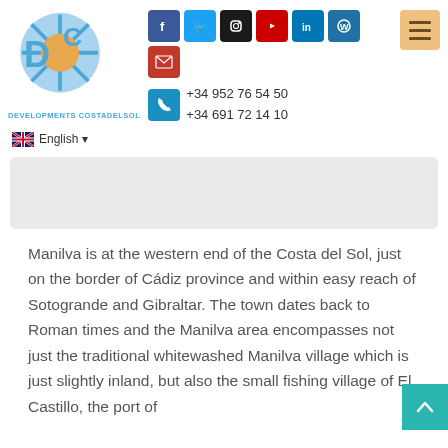[Figure (logo): Developments Costa del Sol logo with blue circular sun design]
[Figure (infographic): Social media icon buttons: Facebook, Twitter, Instagram, YouTube, LinkedIn, WordPress, Email, and hamburger menu button]
+34 952 76 54 50
+34 691 72 14 10
English
[Figure (photo): Blurred banner image (redacted/blurred content)]
Manilva is at the western end of the Costa del Sol, just on the border of Cádiz province and within easy reach of Sotogrande and Gibraltar. The town dates back to Roman times and the Manilva area encompasses not just the traditional whitewashed Manilva village which is just slightly inland, but also the small fishing village of El Castillo, the port of